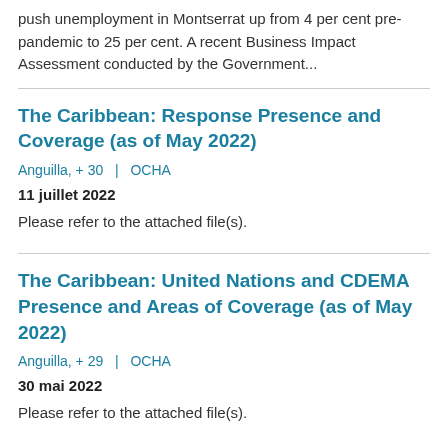push unemployment in Montserrat up from 4 per cent pre-pandemic to 25 per cent. A recent Business Impact Assessment conducted by the Government...
The Caribbean: Response Presence and Coverage (as of May 2022)
Anguilla, + 30  |  OCHA
11 juillet 2022
Please refer to the attached file(s).
The Caribbean: United Nations and CDEMA Presence and Areas of Coverage (as of May 2022)
Anguilla, + 29  |  OCHA
30 mai 2022
Please refer to the attached file(s).